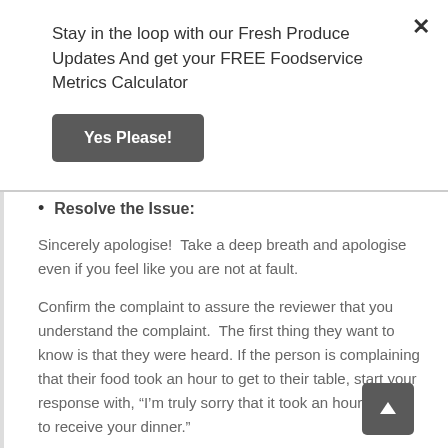Stay in the loop with our Fresh Produce Updates And get your FREE Foodservice Metrics Calculator
Yes Please!
Resolve the Issue:
Sincerely apologise!  Take a deep breath and apologise even if you feel like you are not at fault.
Confirm the complaint to assure the reviewer that you understand the complaint.  The first thing they want to know is that they were heard. If the person is complaining that their food took an hour to get to their table, start your response with, “I’m truly sorry that it took an hour for you to receive your dinner.”
Don’t make excuses, your first reaction is to give a